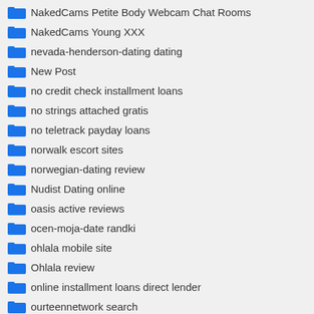NakedCams Petite Body Webcam Chat Rooms
NakedCams Young XXX
nevada-henderson-dating dating
New Post
no credit check installment loans
no strings attached gratis
no teletrack payday loans
norwalk escort sites
norwegian-dating review
Nudist Dating online
oasis active reviews
ocen-moja-date randki
ohlala mobile site
Ohlala review
online installment loans direct lender
ourteennetwork search
ourtime connexion
ourtime mobile
ourtime review
Over 50 dating site free
Over 50 dating tips
par-ethnicite sites
Paribahis